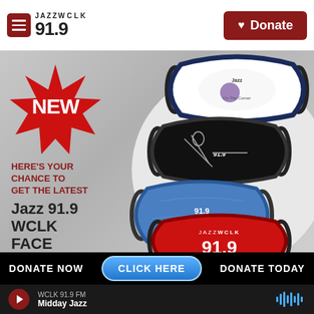JAZZ WCLK 91.9 | Donate
[Figure (photo): Promotional advertisement for Jazz 91.9 WCLK face masks showing four face masks with different designs (white with jazz musician, black with trumpet player, blue with logo, red with 91.9 branding). A red starburst badge reads NEW.]
HERE'S YOUR CHANCE TO GET THE LATEST Jazz 91.9 WCLK FACE MASKS
DONATE NOW   CLICK HERE   DONATE TODAY
WCLK 91.9 FM
Midday Jazz